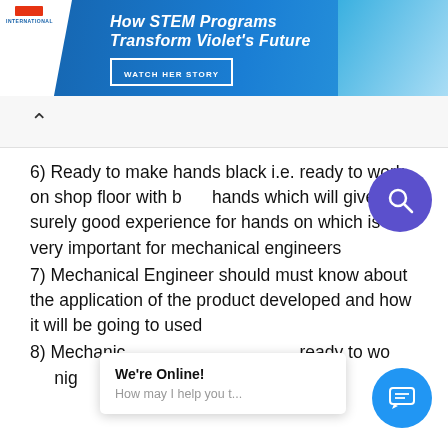[Figure (screenshot): Blue banner advertisement: 'How STEM Programs Transform Violet's Future' with WATCH HER STORY button and photo of a young person]
6) Ready to make hands black i.e. ready to work on shop floor with bare hands which will give surely good experience for hands on which is very important for mechanical engineers
7) Mechanical Engineer should must know about the application of the product developed and how it will be going to used
8) Mechanical Engineer should be ready to work on night shift as might
[Figure (screenshot): Chat widget overlay: 'We're Online! How may I help you t...' with blue chat button]